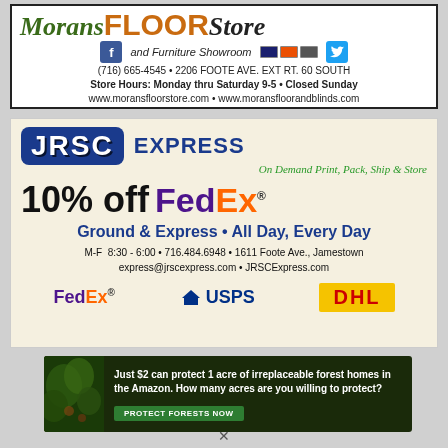[Figure (illustration): Morans Floor Store and Furniture Showroom advertisement. Green italic 'Morans', orange bold 'FLOOR', black italic 'Store', 'and Furniture Showroom', phone (716) 665-4545, 2206 Foote Ave. Ext Rt. 60 South, Store Hours Monday thru Saturday 9-5 Closed Sunday, www.moransfloorstore.com, www.moransfloorandblinds.com. Facebook and Twitter icons, credit card icons.]
[Figure (illustration): JRSC Express advertisement. 10% off FedEx Ground & Express, All Day Every Day. M-F 8:30-6:00, 716.484.6948, 1611 Foote Ave. Jamestown, express@jrscexpress.com, JRSCExpress.com. FedEx, USPS, and DHL logos shown.]
[Figure (illustration): Amazon forest protection advertisement. Just $2 can protect 1 acre of irreplaceable forest homes in the Amazon. How many acres are you willing to protect? PROTECT FORESTS NOW button.]